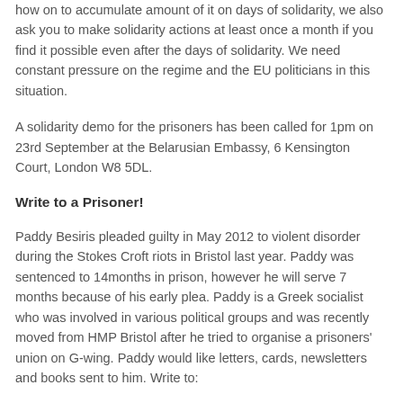how on to accumulate amount of it on days of solidarity, we also ask you to make solidarity actions at least once a month if you find it possible even after the days of solidarity. We need constant pressure on the regime and the EU politicians in this situation.
A solidarity demo for the prisoners has been called for 1pm on 23rd September at the Belarusian Embassy, 6 Kensington Court, London W8 5DL.
Write to a Prisoner!
Paddy Besiris pleaded guilty in May 2012 to violent disorder during the Stokes Croft riots in Bristol last year. Paddy was sentenced to 14months in prison, however he will serve 7 months because of his early plea. Paddy is a Greek socialist who was involved in various political groups and was recently moved from HMP Bristol after he tried to organise a prisoners' union on G-wing. Paddy would like letters, cards, newsletters and books sent to him. Write to: